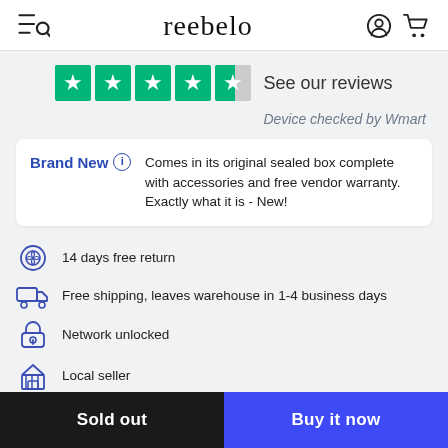reebelo
[Figure (other): Trustpilot 4.5-star rating with green stars and 'See our reviews' text]
Device checked by Wmart
Brand New  Comes in its original sealed box complete with accessories and free vendor warranty. Exactly what it is - New!
14 days free return
Free shipping, leaves warehouse in 1-4 business days
Network unlocked
Local seller
REEBELO CARE
Sold out
Buy it now